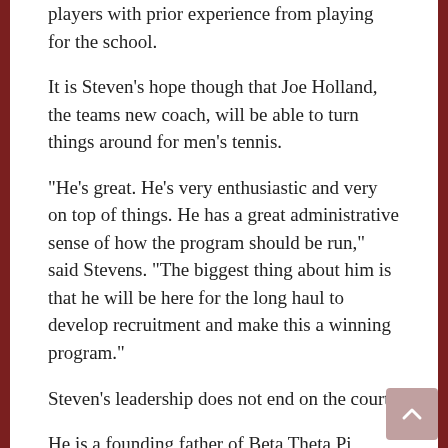players with prior experience from playing for the school.
It is Steven’s hope though that Joe Holland, the teams new coach, will be able to turn things around for men’s tennis.
“He’s great. He’s very enthusiastic and very on top of things. He has a great administrative sense of how the program should be run,” said Stevens. “The biggest thing about him is that he will be here for the long haul to develop recruitment and make this a winning program.”
Steven’s leadership does not end on the court.
He is a founding father of Beta Theta Pi, serves as